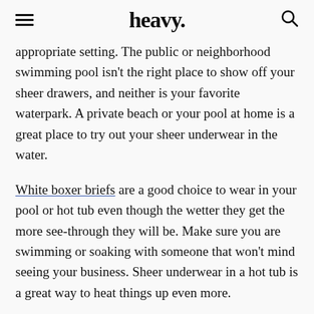heavy.
appropriate setting. The public or neighborhood swimming pool isn't the right place to show off your sheer drawers, and neither is your favorite waterpark. A private beach or your pool at home is a great place to try out your sheer underwear in the water.
White boxer briefs are a good choice to wear in your pool or hot tub even though the wetter they get the more see-through they will be. Make sure you are swimming or soaking with someone that won't mind seeing your business. Sheer underwear in a hot tub is a great way to heat things up even more.